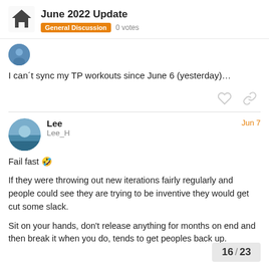June 2022 Update — General Discussion 0 votes
I can´t sync my TP workouts since June 6 (yesterday)…
Lee  Lee_H  Jun 7
Fail fast 🤣
If they were throwing out new iterations fairly regularly and people could see they are trying to be inventive they would get cut some slack.
Sit on your hands, don't release anything for months on end and then break it when you do, tends to get peoples back up.
16 / 23